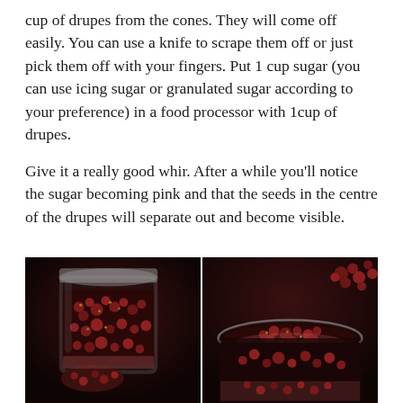cup of drupes from the cones. They will come off easily. You can use a knife to scrape them off or just pick them off with your fingers. Put 1 cup sugar (you can use icing sugar or granulated sugar according to your preference) in a food processor with 1cup of drupes.
Give it a really good whir. After a while you’ll notice the sugar becoming pink and that the seeds in the centre of the drupes will separate out and become visible.
[Figure (photo): Two side-by-side dark food photography images showing drupes (small red/pink berries) in glass jars against a dark brown background. Left image shows a glass jar filled with red drupes with some spilling out. Right image shows a close-up of drupes in a glass jar from above.]